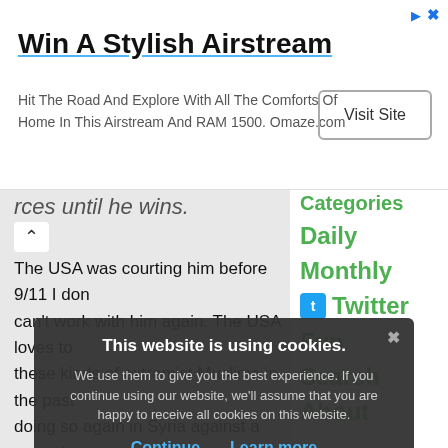[Figure (other): Advertisement banner: Win A Stylish Airstream]
...rces until he wins.
The USA was courting him before 9/11 I don't... can't work with him again. The USA loves to... these kinds of extremist Muslims in the past... doing so again in Syria against a mutual ene...
See, the problem is al-Qaeda was our ally ag... Soviets back in the day and when the Cold W... kind of drifted from their original mission. As... CIA and State Dept can... mutual enemies...
Categories
Daily
Monthly
Twitter
Fun
Search
About
This website is using cookies. We use them to give you the best experience. If you continue using our website, we'll assume that you are happy to receive all cookies on this website.